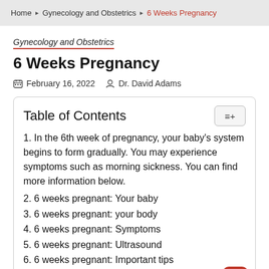Home > Gynecology and Obstetrics > 6 Weeks Pregnancy
Gynecology and Obstetrics
6 Weeks Pregnancy
February 16, 2022   Dr. David Adams
Table of Contents
1. In the 6th week of pregnancy, your baby's system begins to form gradually. You may experience symptoms such as morning sickness. You can find more information below.
2. 6 weeks pregnant: Your baby
3. 6 weeks pregnant: your body
4. 6 weeks pregnant: Symptoms
5. 6 weeks pregnant: Ultrasound
6. 6 weeks pregnant: Important tips